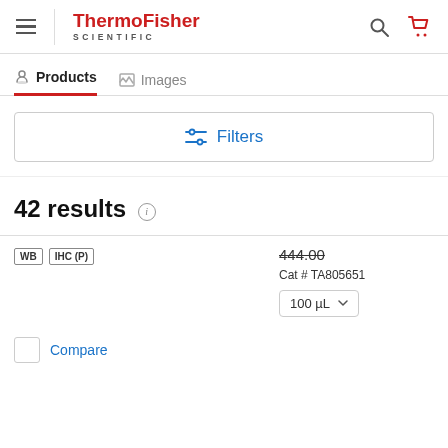ThermoFisher SCIENTIFIC
Products | Images
Filters
42 results
WB  IHC (P)  444.00  Cat # TA805651  100 µL
Compare